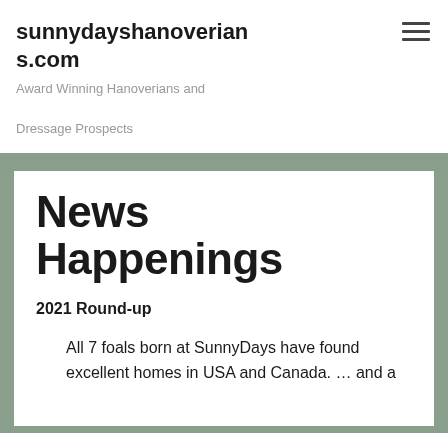sunnydayshanoverians.com
Award Winning Hanoverians and Dressage Prospects
News Happenings
2021 Round-up
All 7 foals born at SunnyDays have found excellent homes in USA and Canada. … and a